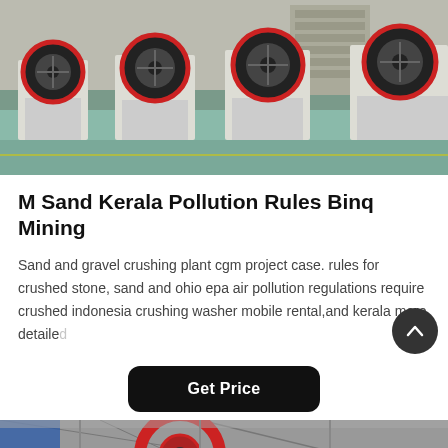[Figure (photo): Industrial jaw crushers lined up in a factory/warehouse setting, white and red machines with large black flywheels on a teal/green floor]
M Sand Kerala Pollution Rules Binq Mining
Sand and gravel crushing plant cgm project case. rules for crushed stone, sand and ohio epa air pollution regulations require crushed indonesia crushing washer mobile rental,and kerala more detailed
Get Price
[Figure (photo): Industrial machinery inside a factory, partial view of a large red wheel/drum and steel structure]
Leave Message   Chat Online